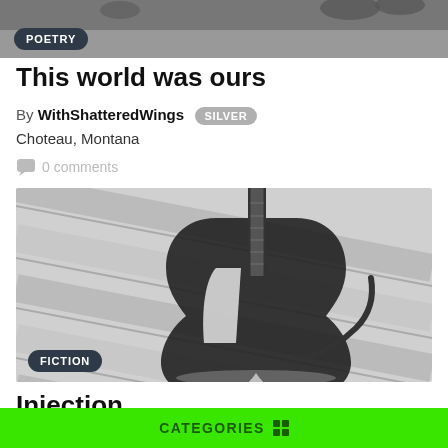[Figure (photo): Black and white photo cropped at top, partially visible]
POETRY
This world was ours
By WithShatteredWings SILVER
Choteau, Montana
0 comments
[Figure (photo): Black and white photo of an electric guitar leaning against wooden planks]
FICTION
Injection
CATEGORIES